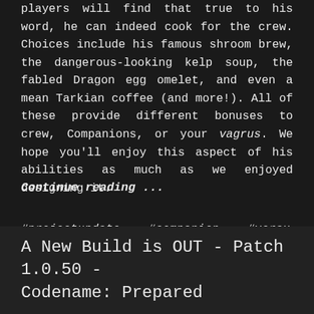players will find that true to his word, he can indeed cook for the crew. Choices include his famous shroom brew, the dangerous-looking kelp soup, the fabled Dragon egg omelet, and even a mean Tarkian coffee (and more!). All of these provide different bonuses to crew, Companions, or your vagrus. We hope you'll enjoy this aspect of his abilities as much as we enjoyed designing it.
Continue reading ...
#projectupdate   #companion   #vorax
This website uses cookies to ensure you get the best experience on our website. If you are okay with that just continue browsing.
More info and disabling cookies here
A New Build is OUT - Patch 1.0.50 - Codename: Prepared